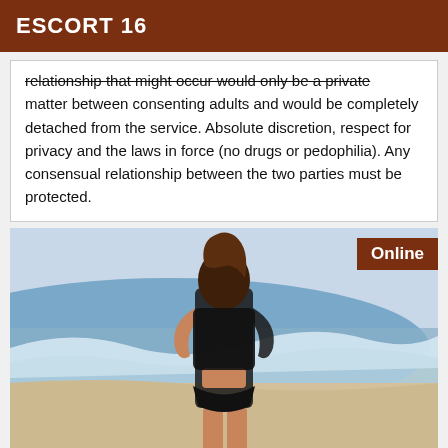ESCORT 16
relationship that might occur would only be a private matter between consenting adults and would be completely detached from the service. Absolute discretion, respect for privacy and the laws in force (no drugs or pedophilia). Any consensual relationship between the two parties must be protected.
[Figure (photo): A woman in a black outfit standing on a beach with ocean waves behind her. An 'Online' badge is shown in the top-right corner of the photo.]